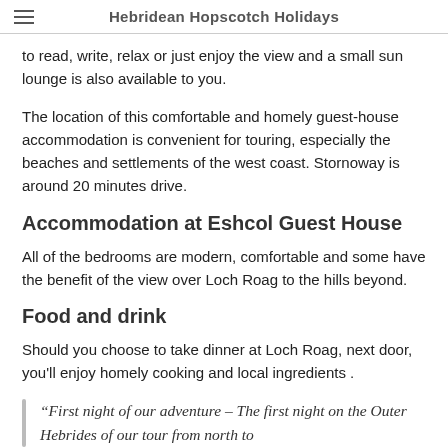Hebridean Hopscotch Holidays
to read, write, relax or just enjoy the view and a small sun lounge is also available to you.
The location of this comfortable and homely guest-house accommodation is convenient for touring, especially the beaches and settlements of the west coast. Stornoway is around 20 minutes drive.
Accommodation at Eshcol Guest House
All of the bedrooms are modern, comfortable and some have the benefit of the view over Loch Roag to the hills beyond.
Food and drink
Should you choose to take dinner at Loch Roag, next door, you'll enjoy homely cooking and local ingredients .
“First night of our adventure – The first night on the Outer Hebrides of our tour from north to